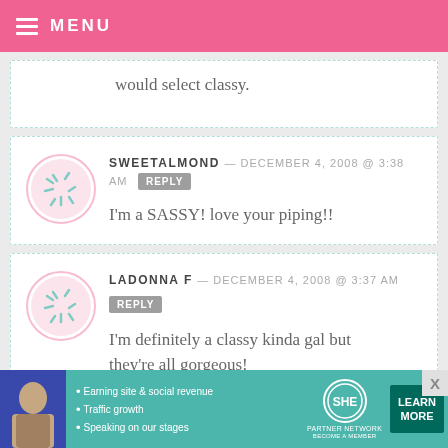MENU
would select classy.
SWEETALMOND — DECEMBER 4, 2008 @ 3:38 AM  REPLY
I'm a SASSY! love your piping!!
LADONNA F — DECEMBER 4, 2008 @ 3:37 AM  REPLY
I'm definitely a classy kinda gal but they're all gorgeous!
[Figure (screenshot): SHE Partner Network advertisement banner with teal background, bullet points about earning site & social revenue, traffic growth, speaking on stages, SHE logo, and Learn More button]